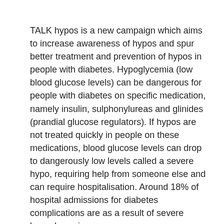TALK hypos is a new campaign which aims to increase awareness of hypos and spur better treatment and prevention of hypos in people with diabetes. Hypoglycemia (low blood glucose levels) can be dangerous for people with diabetes on specific medication, namely insulin, sulphonylureas and glinides (prandial glucose regulators). If hypos are not treated quickly in people on these medications, blood glucose levels can drop to dangerously low levels called a severe hypo, requiring help from someone else and can require hospitalisation. Around 18% of hospital admissions for diabetes complications are as a result of severe hypoglycemia.
One of the problems that can lead to severe hypos developing is lack of awareness about the dangers of hypos. This can be a common problem if doctors that prescribe hypo causing medication do not adequately discuss the risks of hypos. Another problem is a condition